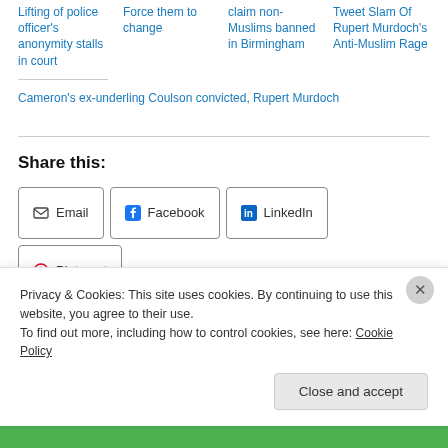Lifting of police officer's anonymity stalls in court
Force them to change
claim non-Muslims banned in Birmingham
Tweet Slam Of Rupert Murdoch's Anti-Muslim Rage
Cameron's ex-underling Coulson convicted, Rupert Murdoch
Share this:
Email | Facebook | LinkedIn | Pinterest
Privacy & Cookies: This site uses cookies. By continuing to use this website, you agree to their use.
To find out more, including how to control cookies, see here: Cookie Policy
Close and accept